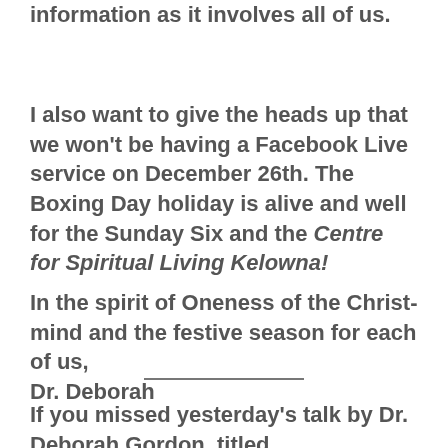information as it involves all of us.
I also want to give the heads up that we won't be having a Facebook Live service on December 26th. The Boxing Day holiday is alive and well for the Sunday Six and the Centre for Spiritual Living Kelowna!
In the spirit of Oneness of the Christ-mind and the festive season for each of us, Dr. Deborah
If you missed yesterday's talk by Dr. Deborah Gordon, titled